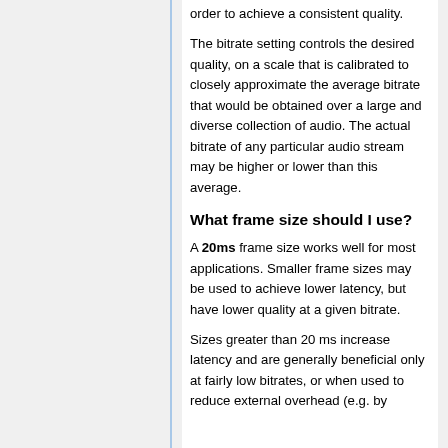order to achieve a consistent quality.
The bitrate setting controls the desired quality, on a scale that is calibrated to closely approximate the average bitrate that would be obtained over a large and diverse collection of audio. The actual bitrate of any particular audio stream may be higher or lower than this average.
What frame size should I use?
A 20ms frame size works well for most applications. Smaller frame sizes may be used to achieve lower latency, but have lower quality at a given bitrate.
Sizes greater than 20 ms increase latency and are generally beneficial only at fairly low bitrates, or when used to reduce external overhead (e.g. by